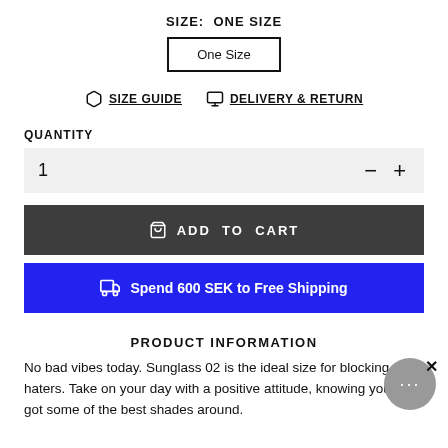SIZE:  ONE SIZE
One Size
SIZE GUIDE   DELIVERY & RETURN
QUANTITY
1
ADD TO CART
Spend 600 SEK to Free Shipping
PRODUCT INFORMATION
No bad vibes today. Sunglass 02 is the ideal size for blocking the haters. Take on your day with a positive attitude, knowing you've got some of the best shades around.